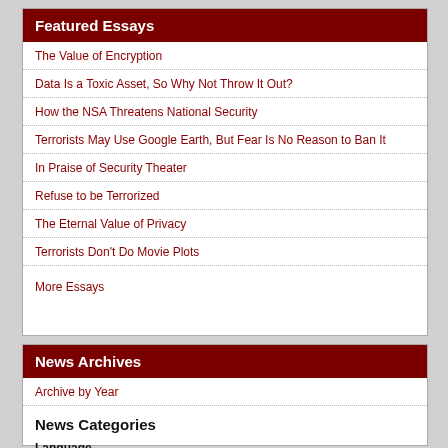Featured Essays
The Value of Encryption
Data Is a Toxic Asset, So Why Not Throw It Out?
How the NSA Threatens National Security
Terrorists May Use Google Earth, But Fear Is No Reason to Ban It
In Praise of Security Theater
Refuse to be Terrorized
The Eternal Value of Privacy
Terrorists Don't Do Movie Plots
More Essays
News Archives
Archive by Year
News Categories
Language